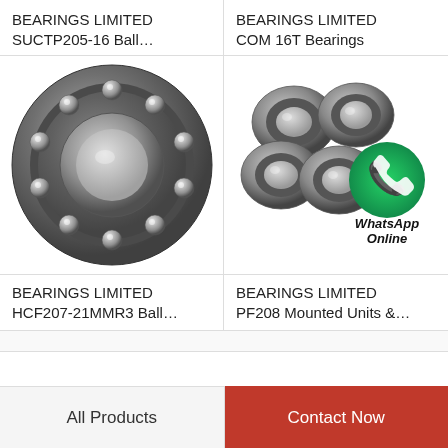BEARINGS LIMITED SUCTP205-16 Ball…
BEARINGS LIMITED COM 16T Bearings
[Figure (photo): Close-up photo of a large open ball bearing, showing inner and outer race with multiple steel balls, metallic grey finish]
[Figure (photo): Group of small ball bearings with a WhatsApp Online logo overlay]
BEARINGS LIMITED HCF207-21MMR3 Ball…
BEARINGS LIMITED PF208 Mounted Units &…
All Products
Contact Now